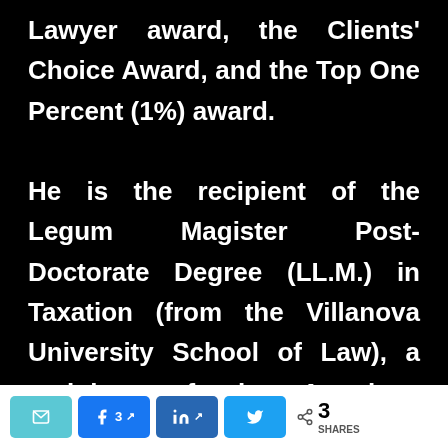Lawyer award, the Clients' Choice Award, and the Top One Percent (1%) award. He is the recipient of the Legum Magister Post-Doctorate Degree (LL.M.) in Taxation (from the Villanova University School of Law), a recipient of the American Jurisprudence Award in Wills, Trusts, and Estates (from the Widener University School of Law), and a recipient of the ABA-BNA Law Award for
[Figure (infographic): Social share bar with email, Facebook (3 shares), LinkedIn, and Twitter buttons, plus a total share count of 3 SHARES]